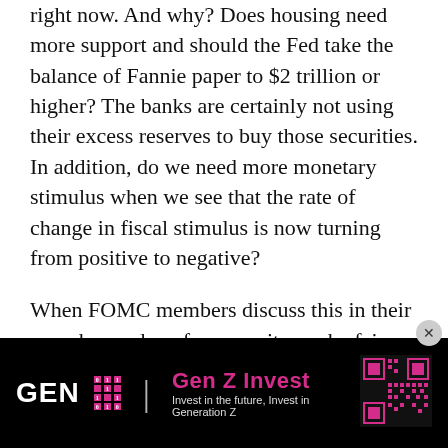right now. And why? Does housing need more support and should the Fed take the balance of Fannie paper to $2 trillion or higher? The banks are certainly not using their excess reserves to buy those securities. In addition, do we need more monetary stimulus when we see that the rate of change in fiscal stimulus is now turning from positive to negative?
When FOMC members discuss this in their speeches and conferences, it may be fair game to ask them directly to explain why they say the Fed's balance sheet is too large or too small. Steve Liesman can ask them, too.
Steve, we look forward to your visit to Leen's Lodge for the annual Camp Kotok retreat in August. Have safe travels and safe journey.
[Figure (other): Gen Z Invest advertisement banner with logo, brand name in pink, tagline 'Invest in the future, Invest in Generation Z', and QR code on black background]